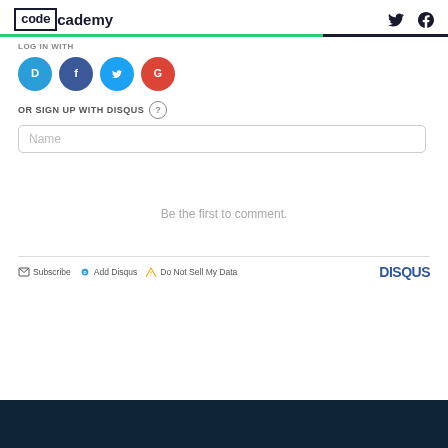codecademy
[Figure (logo): Codecademy logo with box around 'code' and social media icons (Twitter bird, Facebook f) on the right]
LOG IN WITH
[Figure (illustration): Four social login buttons: Disqus (D, blue), Facebook (f, dark blue), Twitter (bird, light blue), Google (G, red)]
OR SIGN UP WITH DISQUS ?
Name
Be the first to comment.
Subscribe  Add Disqus  Do Not Sell My Data  DISQUS